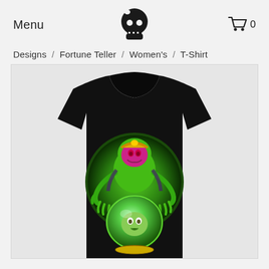Menu  [skull logo]  [cart] 0
Designs / Fortune Teller / Women's / T-Shirt
[Figure (photo): Black women's t-shirt displayed on a light grey background. The shirt features a graphic design showing a green fortune teller creature with tentacles holding a glowing crystal ball, with a face visible inside the ball.]